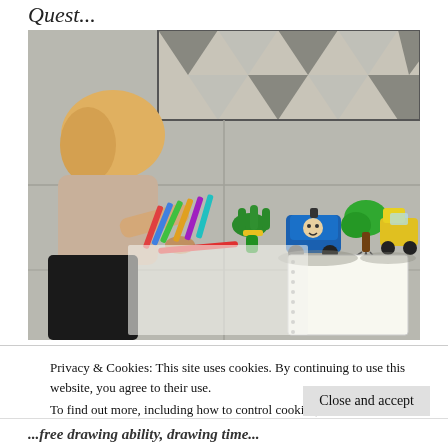Quest...
[Figure (photo): A young child with blonde hair kneeling on a patio, drawing with a red pencil on paper. Around them are coloured pencils, a green plastic hand holding a blue toy train (Thomas the Tank Engine), a green drawn tree with roots, and a yellow toy vehicle. The floor has large grey paving slabs and in the background is a geometric patterned mat/rug.]
Privacy & Cookies: This site uses cookies. By continuing to use this website, you agree to their use.
To find out more, including how to control cookies, see here: Cookie Policy
Close and accept
...free drawing ability, drawing time...